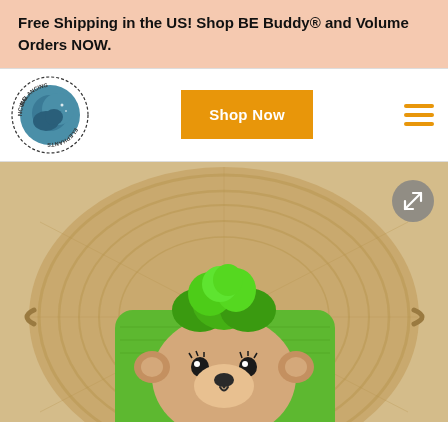Free Shipping in the US! Shop BE Buddy® and Volume Orders NOW.
[Figure (logo): Balancing Elephants circular logo with moon and elephant silhouette]
Shop Now
[Figure (photo): A green bear-face plush toy with green fluffy fur on top, placed on a woven rattan mat/tray]